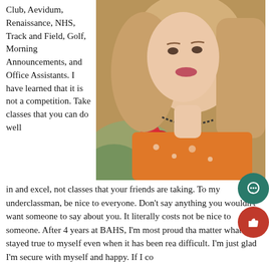Club, Aevidum, Renaissance, NHS, Track and Field, Golf, Morning Announcements, and Office Assistants. I have learned that it is not a competition. Take classes that you can do well
[Figure (photo): Portrait photo of a young woman with long blonde hair wearing an orange floral top and a beaded necklace, holding or near red flowers]
in and excel, not classes that your friends are taking. To my underclassman, be nice to everyone. Don't say anything you wouldn't want someone to say about you. It literally costs not be nice to someone. After 4 years at BAHS, I'm most proud tha matter what I stayed true to myself even when it has been rea difficult. I'm just glad I'm secure with myself and happy. If I co